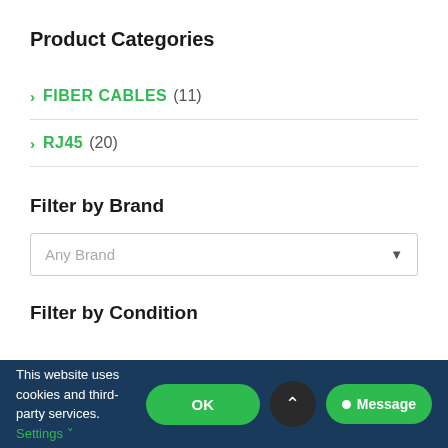Product Categories
> FIBER CABLES (11)
> RJ45 (20)
Filter by Brand
Any Brand
Filter by Condition
This website uses cookies and third-party services. Settings OK REJECT Message